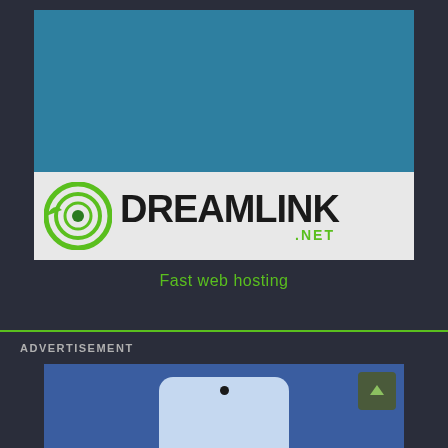[Figure (logo): Dreamlink.net advertisement banner. Top portion is teal/blue background. Bottom portion shows the Dreamlink logo: a green circular target icon, the word DREAMLINK in large black bold text, and .NET in green below it.]
Fast web hosting
ADVERTISEMENT
[Figure (screenshot): Partial advertisement banner with blue background showing bottom portion of a smartphone device with rounded corners and a black camera dot.]